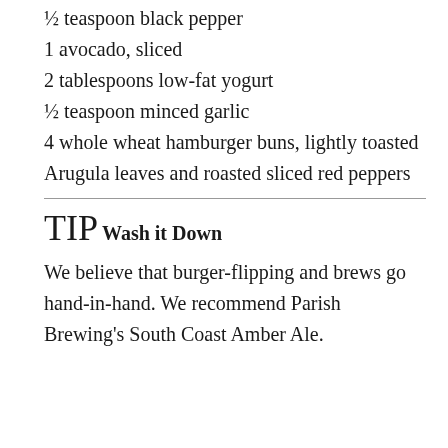½ teaspoon black pepper
1 avocado, sliced
2 tablespoons low-fat yogurt
½ teaspoon minced garlic
4 whole wheat hamburger buns, lightly toasted
Arugula leaves and roasted sliced red peppers
TIP
Wash it Down
We believe that burger-flipping and brews go hand-in-hand.  We recommend Parish Brewing's South Coast Amber Ale.